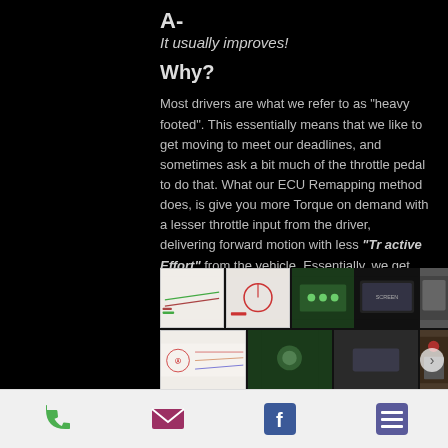A-
It usually improves!
Why?
Most drivers are what we refer to as "heavy footed". This essentially means that we like to get moving to meet our deadlines, and sometimes ask a bit much of the throttle pedal to do that. What our ECU Remapping method does, is give you more Torque on demand with a lesser throttle input from the driver, delivering forward motion with less "Tr active Effort" from the vehicle. Essentially, we get you moving quicker, in less time, with less effort, therefore using less fuel. It's all a part of the balance.
[Figure (screenshot): Grid of thumbnail images showing ECU remapping charts and car interior/equipment photos]
Phone | Email | Facebook | Menu icons